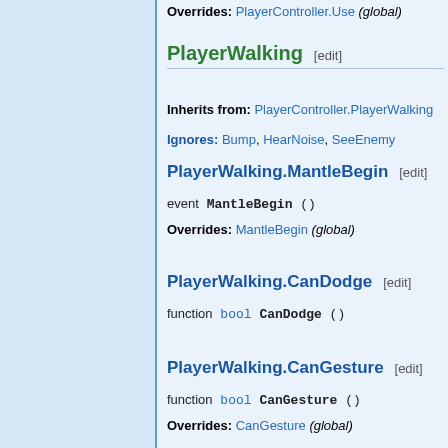Overrides: PlayerController.Use (global)
PlayerWalking [edit]
Inherits from: PlayerController.PlayerWalking
Ignores: Bump, HearNoise, SeeEnemy
PlayerWalking.MantleBegin [edit]
event MantleBegin ()
Overrides: MantleBegin (global)
PlayerWalking.CanDodge [edit]
function bool CanDodge ()
PlayerWalking.CanGesture [edit]
function bool CanGesture ()
Overrides: CanGesture (global)